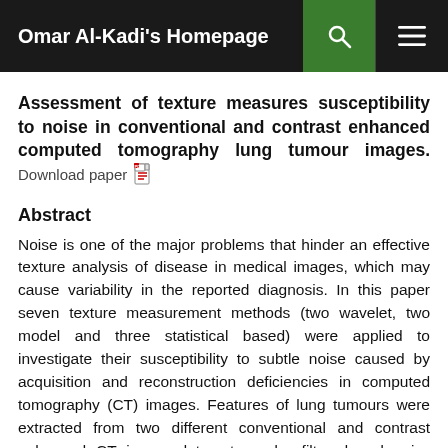Omar Al-Kadi's Homepage
Assessment of texture measures susceptibility to noise in conventional and contrast enhanced computed tomography lung tumour images. Download paper
Abstract
Noise is one of the major problems that hinder an effective texture analysis of disease in medical images, which may cause variability in the reported diagnosis. In this paper seven texture measurement methods (two wavelet, two model and three statistical based) were applied to investigate their susceptibility to subtle noise caused by acquisition and reconstruction deficiencies in computed tomography (CT) images. Features of lung tumours were extracted from two different conventional and contrast enhanced CT image data-sets under filtered and noisy conditions. When measuring the